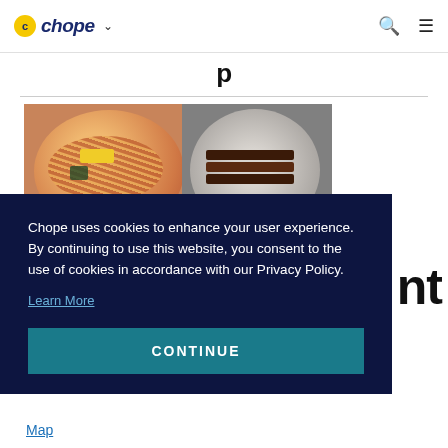chope (navigation bar with logo, search, and menu icons)
[Figure (photo): Food photo showing two bowls: a ramen bowl with corn and noodles on the left, and a bowl with braised pork slices on the right, on a dark background.]
Chope uses cookies to enhance your user experience. By continuing to use this website, you consent to the use of cookies in accordance with our Privacy Policy.
Learn More
CONTINUE
Map